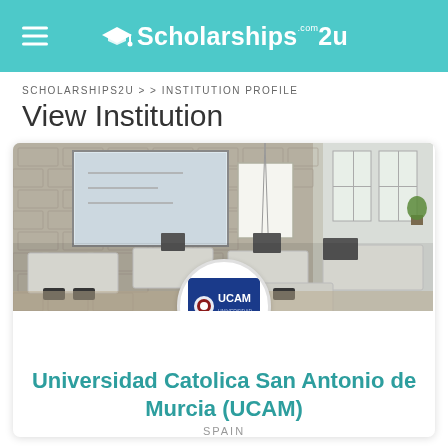Scholarships2u.com
SCHOLARSHIPS2U > > INSTITUTION PROFILE
View Institution
[Figure (photo): Classroom photo showing desks, computers, a projector screen on a stone brick wall, and large windows with natural light. UCAM university logo shown in a white circle overlaid at the bottom center.]
Universidad Catolica San Antonio de Murcia (UCAM)
SPAIN